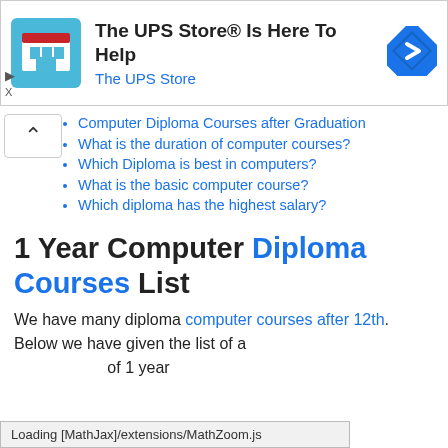[Figure (screenshot): UPS Store advertisement banner with store icon, text 'The UPS Store® Is Here To Help', 'The UPS Store' subtitle in blue, and a blue navigation arrow icon on the right. Small play and close icons on the left.]
Computer Diploma Courses after Graduation
What is the duration of computer courses?
Which Diploma is best in computers?
What is the basic computer course?
Which diploma has the highest salary?
1 Year Computer Diploma Courses List
We have many diploma computer courses after 12th. Below we have given the list of a 1 year
Loading [MathJax]/extensions/MathZoom.js